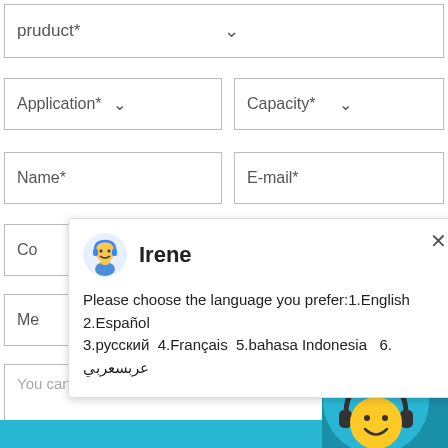pruduct*
Application*
Capacity*
Name*
E-mail*
Co
Me
You can fill in any other requirements or que
[Figure (screenshot): Chat popup from Irene with language selection options: 1.English 2.Español 3.русский 4.Français 5.bahasa Indonesia 6. عربسعربي, with close button]
[Figure (screenshot): Yellow smiley face chat agent with headphones on blue circle, notification badge showing 1, and Click me to chat button]
Enquiry
cywaitml @gmail.com